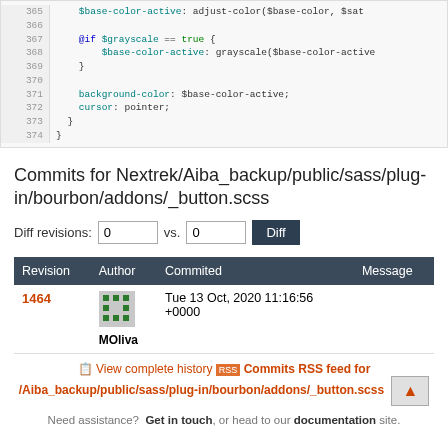[Figure (screenshot): Code block showing SCSS lines 365-374 with syntax highlighting]
Commits for Nextrek/Aiba_backup/public/sass/plug-in/bourbon/addons/_button.scss
Diff revisions: 0 vs. 0 Diff
| Revision | Author | Commited | Message |
| --- | --- | --- | --- |
| 1464 | MOliva | Tue 13 Oct, 2020 11:16:56
+0000 |  |
View complete history  Commits RSS feed for /Aiba_backup/public/sass/plug-in/bourbon/addons/_button.scss
Need assistance?  Get in touch, or head to our documentation site.